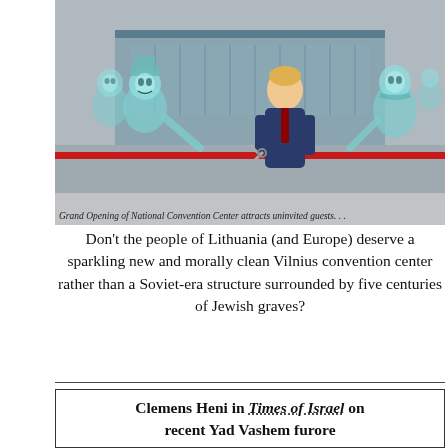[Figure (illustration): Political cartoon showing a figure in a suit cutting a red ribbon at a grand opening of a National Convention Center, flanked by ghostly skeletal/zombie-like figures in teal/cyan coloring. A large modern building is visible in the background.]
Grand Opening of National Convention Center attracts uninvited guests. . .
Don't the people of Lithuania (and Europe) deserve a sparkling new and morally clean Vilnius convention center rather than a Soviet-era structure surrounded by five centuries of Jewish graves?
Clemens Heni in Times of Israel on recent Yad Vashem furore